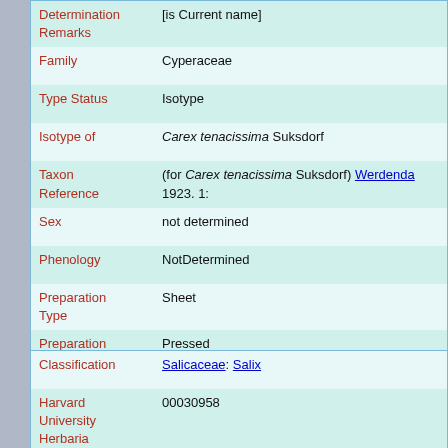| Field | Value |
| --- | --- |
| Determination Remarks | [is Current name] |
| Family | Cyperaceae |
| Type Status | Isotype |
| Isotype of | Carex tenacissima Suksdorf |
| Taxon Reference | (for Carex tenacissima Suksdorf) Werdenda 1923. 1: |
| Sex | not determined |
| Phenology | NotDetermined |
| Preparation Type | Sheet |
| Preparation Method | Pressed |
| Remarks | = Carex nudata Boott (det. L. A. Standley, 1981) |
| Field | Value |
| --- | --- |
| Classification | Salicaceae: Salix |
| Harvard University Herbaria | 00030958 |